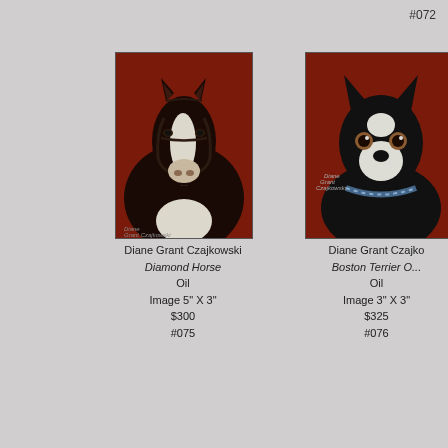#072
[Figure (illustration): Oil painting of a black and white paint horse head with bridle against a dark red background, signed by Diane Grant Czajkowski]
Diane Grant Czajkowski
Diamond Horse
Oil
Image 5" X 3"
$300
#075
[Figure (illustration): Oil painting of a Boston Terrier dog against a dark red background, signed by Diane Grant Czajkowski]
Diane Grant Czajkowski
Boston Terrier O...
Oil
Image 3" X 3"
$325
#076